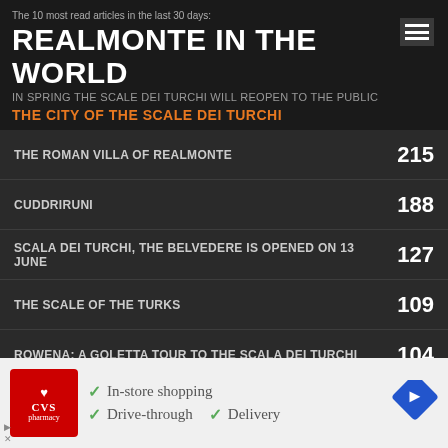The 10 most read articles in the last 30 days:
REALMONTE IN THE WORLD
IN SPRING THE SCALE DEI TURCHI WILL REOPEN TO THE PUBLIC
THE CITY OF THE SCALE DEI TURCHI
THE ROMAN VILLA OF REALMONTE
CUDDRIRUNI
SCALA DEI TURCHI, THE BELVEDERE IS OPENED ON 13 JUNE
THE SCALE OF THE TURKS
ROWENA: A GOLETTA TOUR TO THE SCALA DEI TURCHI
THEN THE TANGO WAS DANCED BETWEEN MEN ONLY
“FREEDOM” IN THE HEART OF THE REALMONTE SALT MINE
THE LEGEND OF “U ZITU EA ZITA”
[Figure (screenshot): CVS Pharmacy advertisement banner with checkmarks listing: In-store shopping, Drive-through, Delivery, and a navigation/directions icon]